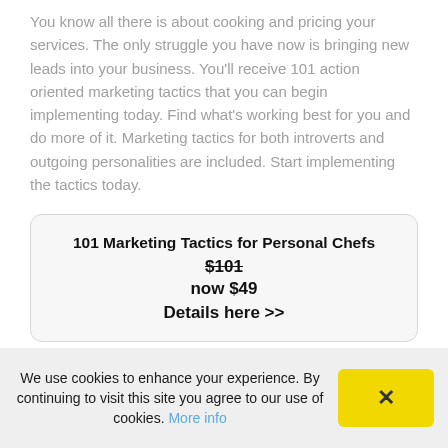You know all there is about cooking and pricing your services. The only struggle you have now is bringing new leads into your business. You'll receive 101 action oriented marketing tactics that you can begin implementing today. Find what's working best for you and do more of it. Marketing tactics for both introverts and outgoing personalities are included. Start implementing the tactics today.
101 Marketing Tactics for Personal Chefs
$101
now $49
Details here >>
We use cookies to enhance your experience. By continuing to visit this site you agree to our use of cookies. More info